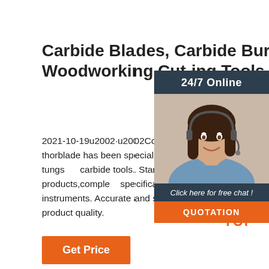Carbide Blades, Carbide Burrs, Woodworking Cutting Tools ...
2021-10-19u2002·u2002Company Advantage. Since the year of 2005, thorblade has been specializing in the development and production of tungsten carbide tools. Standard warehouse. We have a wide variety products,complete specifications,superior quality. Cutting testing instruments. Accurate and strict dimensional inspection to ensure product quality.
[Figure (photo): Customer service agent (woman with headset) photo with '24/7 Online' label above and 'Click here for free chat!' and 'QUOTATION' button below, on dark blue-grey background panel]
[Figure (illustration): Orange 'TOP' scroll-to-top button with orange dots arranged in triangle above the text]
Get Price